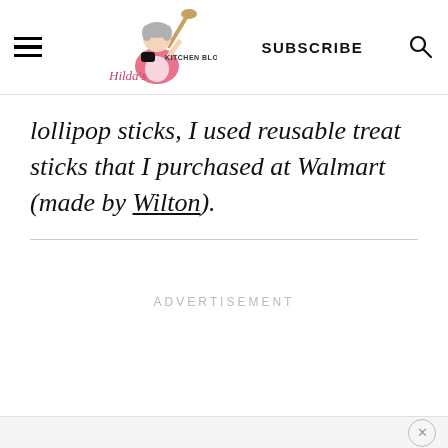Hilda's Kitchen Blog — SUBSCRIBE
lollipop sticks, I used reusable treat sticks that I purchased at Walmart (made by Wilton).
ADVERTISEMENT